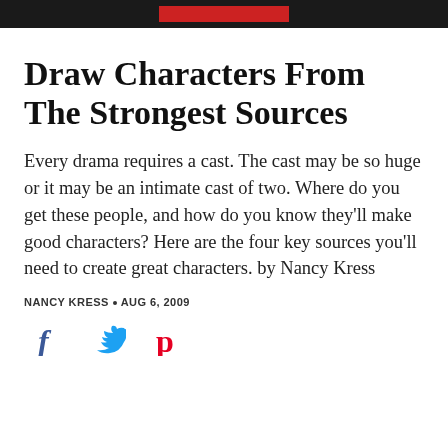Draw Characters From The Strongest Sources
Every drama requires a cast. The cast may be so huge or it may be an intimate cast of two. Where do you get these people, and how do you know they'll make good characters? Here are the four key sources you'll need to create great characters. by Nancy Kress
NANCY KRESS • AUG 6, 2009
[Figure (other): Social media share icons: Facebook (f), Twitter (bird), Pinterest (p)]